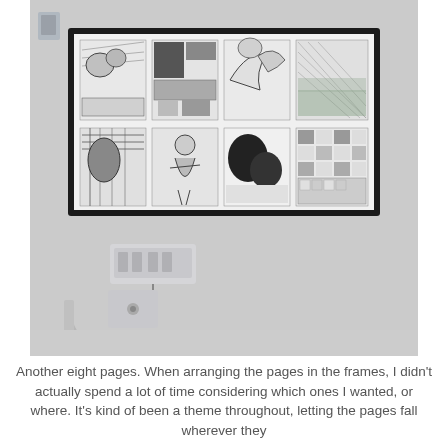[Figure (photo): A photograph of a framed artwork mounted on a white wall. The frame is black and contains 8 comic-style black and white drawings arranged in a 2-row grid (4 panels top row, 4 panels bottom row). Below the frame is an electrical outlet and some pipes/fixtures on the wall.]
Another eight pages. When arranging the pages in the frames, I didn't actually spend a lot of time considering which ones I wanted, or where. It's kind of been a theme throughout, letting the pages fall wherever they